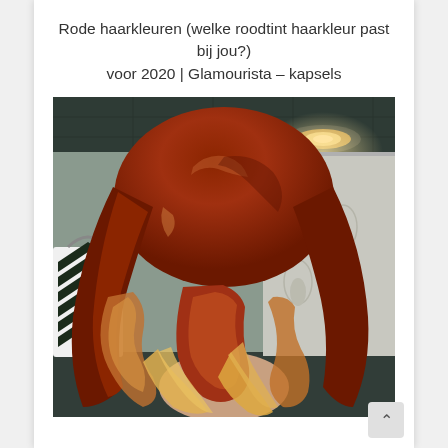Rode haarkleuren (welke roodtint haarkleur past bij jou?) voor 2020 | Glamourista – kapsels
[Figure (photo): Back view of a woman with auburn/copper red ombre hair with blonde highlights at the ends, styled in loose curls. She is standing in a bathroom with a chevron-patterned bag on the left and a decorative curtain on the right. A ceiling light is visible in the upper right.]